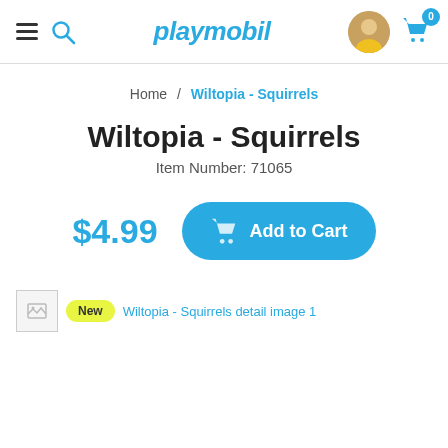playmobil — navigation header with hamburger menu, search, logo, user avatar, cart (0)
Home / Wiltopia - Squirrels
Wiltopia - Squirrels
Item Number: 71065
$4.99
Add to Cart
[Figure (screenshot): Broken thumbnail image for item 71065 with New badge and alt text 'Wiltopia - Squirrels detail image 1']